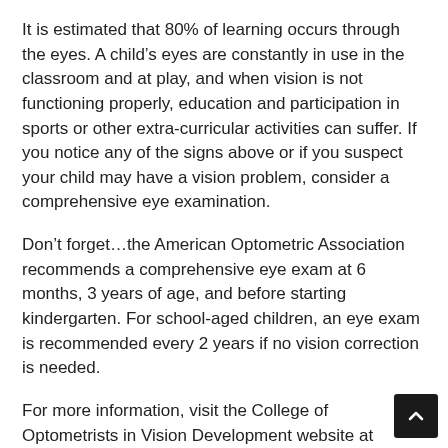It is estimated that 80% of learning occurs through the eyes. A child’s eyes are constantly in use in the classroom and at play, and when vision is not functioning properly, education and participation in sports or other extra-curricular activities can suffer. If you notice any of the signs above or if you suspect your child may have a vision problem, consider a comprehensive eye examination.
Don’t forget…the American Optometric Association recommends a comprehensive eye exam at 6 months, 3 years of age, and before starting kindergarten. For school-aged children, an eye exam is recommended every 2 years if no vision correction is needed.
For more information, visit the College of Optometrists in Vision Development website at www.covd.org.